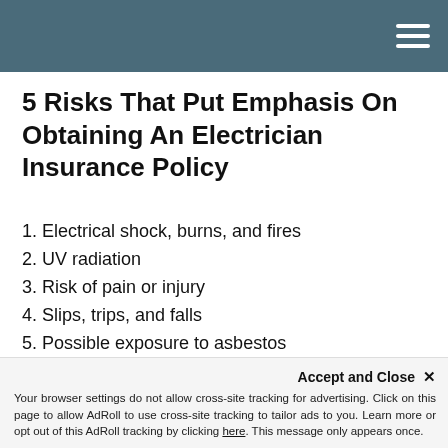5 Risks That Put Emphasis On Obtaining An Electrician Insurance Policy
5 Risks That Put Emphasis On Obtaining An Electrician Insurance Policy
1. Electrical shock, burns, and fires
2. UV radiation
3. Risk of pain or injury
4. Slips, trips, and falls
5. Possible exposure to asbestos
Insurance is no longer a luxury for electricians as most clients won't even allow a contractor to start work on their site without valid proof of insurance. But here at Keep Insurance we will customize the right insurance policy just for you.
Accept and Close ×
Your browser settings do not allow cross-site tracking for advertising. Click on this page to allow AdRoll to use cross-site tracking to tailor ads to you. Learn more or opt out of this AdRoll tracking by clicking here. This message only appears once.